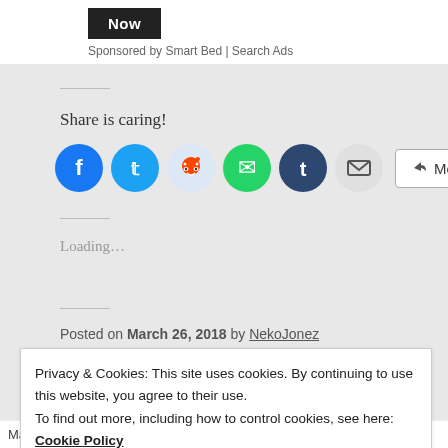[Figure (other): Black button with text 'Now']
Sponsored by Smart Bed | Search Ads
Share is caring!
[Figure (infographic): Social share buttons: Facebook, Twitter, Reddit, WhatsApp, Tumblr, Email, and More button]
Loading...
Posted on March 26, 2018 by NekoJonez
Privacy & Cookies: This site uses cookies. By continuing to use this website, you agree to their use.
To find out more, including how to control cookies, see here: Cookie Policy
Close and accept
Majesco, Metroid, Monster, more, music, neko, NekoJonez, news,